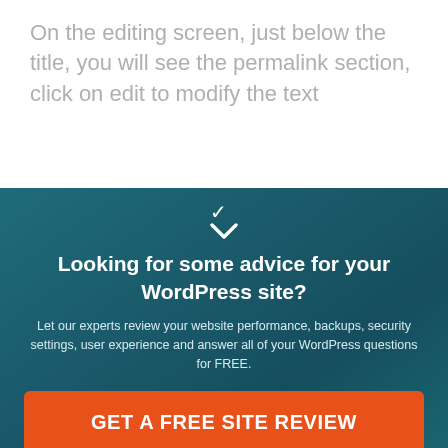On the editing screen, just below the title, you will see the permalink section, click on edit to modify the text
Looking for some advice for your WordPress site?
Let our experts review your website performance, backups, security settings, user experience and answer all of your WordPress questions for FREE.
GET A FREE SITE REVIEW